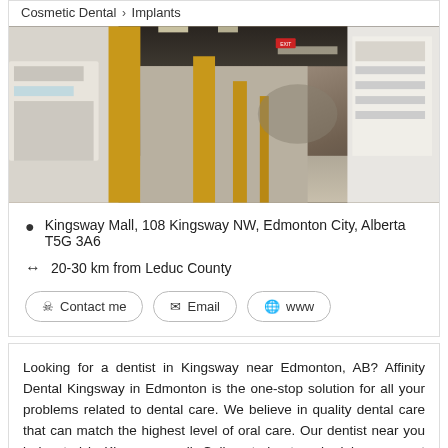Cosmetic Dental > Implants
[Figure (photo): Interior photo of a dental clinic hallway with yellow columns, dental equipment, white cabinetry, and corridor receding into the background.]
Kingsway Mall, 108 Kingsway NW, Edmonton City, Alberta T5G 3A6
20-30 km from Leduc County
Contact me   Email   www
Looking for a dentist in Kingsway near Edmonton, AB? Affinity Dental Kingsway in Edmonton is the one-stop solution for all your problems related to dental care. We believe in quality dental care that can match the highest level of oral care. Our dentist near you is located in Kingsway mall. Call us today to schedule your next dentist appointment. Opening Hours: Monday: 8:00am - 8:00pm Tuesday: 8:00am - 8:00pm Wednesday: 8:00am - 8:00pm Thursday:8:00am - 8:00pm Friday: